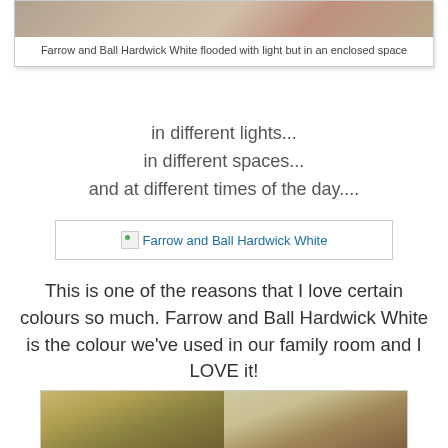[Figure (photo): Photo of a room with Farrow and Ball Hardwick White paint, flooded with light but in an enclosed space — showing a rug with geometric pattern]
Farrow and Ball Hardwick White flooded with light but in an enclosed space
in different lights...
in different spaces...
and at different times of the day....
[Figure (photo): Broken image placeholder link for Farrow and Ball Hardwick White]
This is one of the reasons that I love certain colours so much. Farrow and Ball Hardwick White is the colour we've used in our family room and I LOVE it!
[Figure (photo): Two photos side by side showing Farrow and Ball Hardwick White in a family room under different lighting conditions]